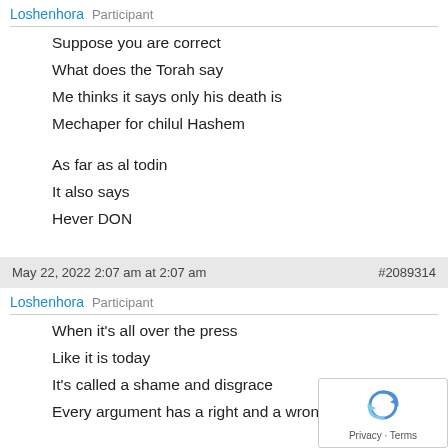Loshenhora  Participant
Suppose you are correct
What does the Torah say
Me thinks it says only his death is
Mechaper for chilul Hashem

As far as al todin
It also says
Hever DON
May 22, 2022 2:07 am at 2:07 am  #2089314
Loshenhora  Participant
When it's all over the press
Like it is today
It's called a shame and disgrace
Every argument has a right and a wrong for the first